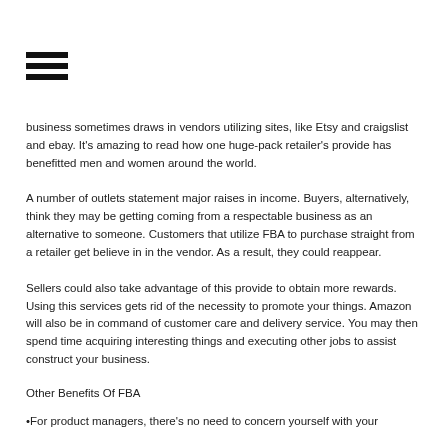[Figure (other): Hamburger menu icon — three horizontal black bars]
business sometimes draws in vendors utilizing sites, like Etsy and craigslist and ebay. It's amazing to read how one huge-pack retailer's provide has benefitted men and women around the world.
A number of outlets statement major raises in income. Buyers, alternatively, think they may be getting coming from a respectable business as an alternative to someone. Customers that utilize FBA to purchase straight from a retailer get believe in in the vendor. As a result, they could reappear.
Sellers could also take advantage of this provide to obtain more rewards. Using this services gets rid of the necessity to promote your things. Amazon will also be in command of customer care and delivery service. You may then spend time acquiring interesting things and executing other jobs to assist construct your business.
Other Benefits Of FBA
•For product managers, there's no need to concern yourself with your